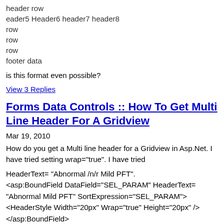header row
eader5 Header6 header7 header8
row
row
row
footer data
is this format even possible?
View 3 Replies
Forms Data Controls :: How To Get Multi Line Header For A Gridview
Mar 19, 2010
How do you get a Multi line header for a Gridview in Asp.Net. I have tried setting wrap="true". I have tried
HeaderText= "Abnormal /n/r Mild PFT".
<asp:BoundField DataField="SEL_PARAM" HeaderText=
"Abnormal Mild PFT" SortExpression="SEL_PARAM">
<HeaderStyle Width="20px" Wrap="true" Height="20px" />
</asp:BoundField>